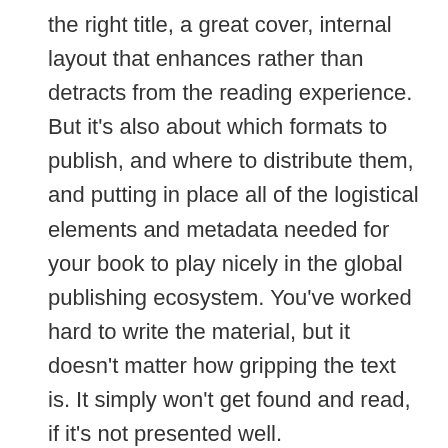the right title, a great cover, internal layout that enhances rather than detracts from the reading experience. But it's also about which formats to publish, and where to distribute them, and putting in place all of the logistical elements and metadata needed for your book to play nicely in the global publishing ecosystem. You've worked hard to write the material, but it doesn't matter how gripping the text is. It simply won't get found and read, if it's not presented well.
And the fifth and final element is Sales Conversion.
This final piece is important for obvious reasons,